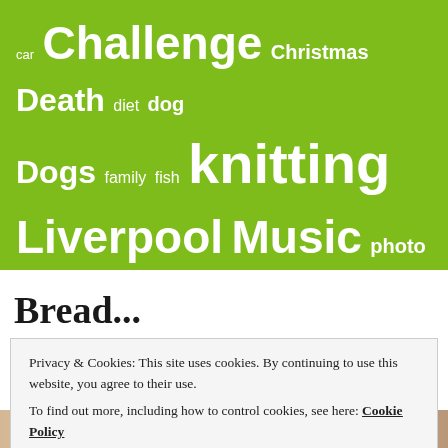[Figure (infographic): Tag cloud on green background with words: car, Challenge, Christmas, Death, diet, dog, Dogs, family, fish, knitting, Liverpool, Music, photo, photography, post, puppy, reading, sweater, travel, Video, Weather, yarn — displayed in varying font sizes in white text on lime green background]
Bread...
Privacy & Cookies: This site uses cookies. By continuing to use this website, you agree to their use.
To find out more, including how to control cookies, see here: Cookie Policy
Close and accept